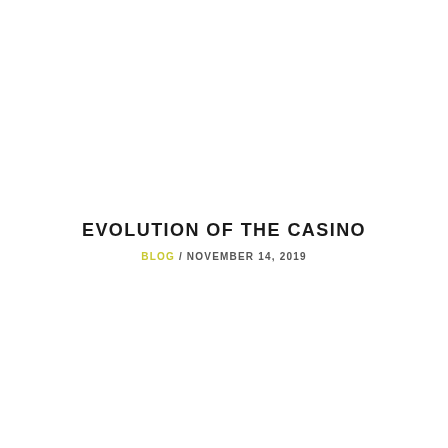EVOLUTION OF THE CASINO
BLOG / NOVEMBER 14, 2019